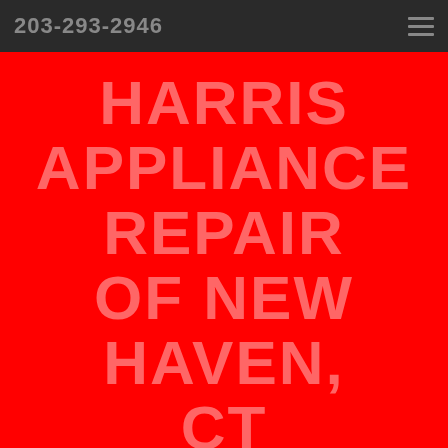203-293-2946
HARRIS APPLIANCE REPAIR of NEW HAVEN, CT
WHERE CUSTOMER SERVICE COMES FIRST!